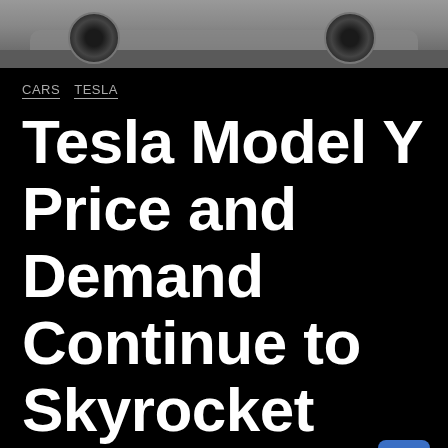[Figure (photo): Top portion of a Tesla Model Y car on a wooden floor background, showing the vehicle's roof, windshield, and rear wheel area.]
CARS  TESLA
Tesla Model Y Price and Demand Continue to Skyrocket
Juliane Marques   April 2, 2021
Electric Car  Tesla